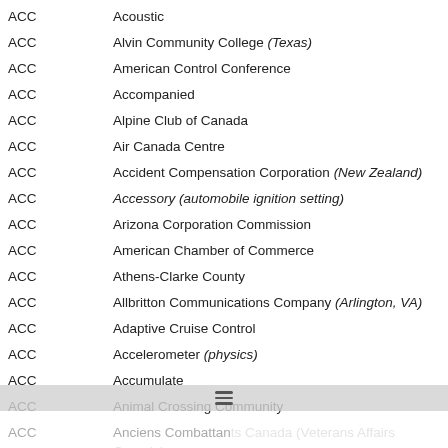ACC — Acoustic
ACC — Alvin Community College (Texas)
ACC — American Control Conference
ACC — Accompanied
ACC — Alpine Club of Canada
ACC — Air Canada Centre
ACC — Accident Compensation Corporation (New Zealand)
ACC — Accessory (automobile ignition setting)
ACC — Arizona Corporation Commission
ACC — American Chamber of Commerce
ACC — Athens-Clarke County
ACC — Allbritton Communications Company (Arlington, VA)
ACC — Adaptive Cruise Control
ACC — Accelerometer (physics)
ACC — Accumulate
ACC — Animal Crossing Community
ACC — Anciens Combattants Canada (Veterans Affairs Canada)